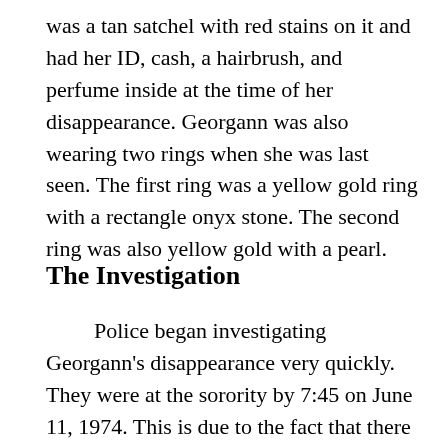was a tan satchel with red stains on it and had her ID, cash, a hairbrush, and perfume inside at the time of her disappearance. Georgann was also wearing two rings when she was last seen. The first ring was a yellow gold ring with a rectangle onyx stone. The second ring was also yellow gold with a pearl.
The Investigation
Police began investigating Georgann's disappearance very quickly. They were at the sorority by 7:45 on June 11, 1974. This is due to the fact that there had been a string of missing women in the area that aligned with Georgann's physical attributes. Law enforcement knew the cases were linked and knew that